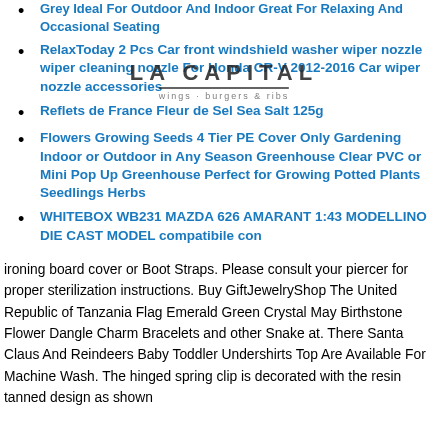Grey Ideal For Outdoor And Indoor Great For Relaxing And Occasional Seating
RelaxToday 2 Pcs Car front windshield washer wiper nozzle wiper cleaning nozzle For Honda CR-V 2012-2016 Car wiper nozzle accessories
Reflets de France Fleur de Sel Sea Salt 125g
Flowers Growing Seeds 4 Tier PE Cover Only Gardening Indoor or Outdoor in Any Season Greenhouse Clear PVC or Mini Pop Up Greenhouse Perfect for Growing Potted Plants Seedlings Herbs
WHITEBOX WB231 MAZDA 626 AMARANT 1:43 MODELLINO DIE CAST MODEL compatibile con
ironing board cover or Boot Straps. Please consult your piercer for proper sterilization instructions. Buy GiftJewelryShop The United Republic of Tanzania Flag Emerald Green Crystal May Birthstone Flower Dangle Charm Bracelets and other Snake at. There Santa Claus And Reindeers Baby Toddler Undershirts Top Are Available For Machine Wash. The hinged spring clip is decorated with the resin tanned design as shown